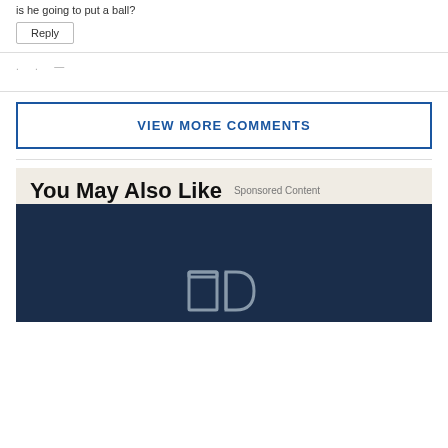is he going to put a ball?
Reply
. . . —
VIEW MORE COMMENTS
You May Also Like
Sponsored Content
[Figure (logo): TD bank logo on dark navy background]